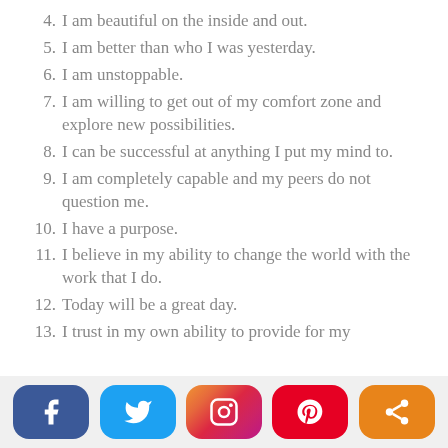4. I am beautiful on the inside and out.
5. I am better than who I was yesterday.
6. I am unstoppable.
7. I am willing to get out of my comfort zone and explore new possibilities.
8. I can be successful at anything I put my mind to.
9. I am completely capable and my peers do not question me.
10. I have a purpose.
11. I believe in my ability to change the world with the work that I do.
12. Today will be a great day.
13. I trust in my own ability to provide for my
[Figure (infographic): Social media sharing bar with Facebook, Twitter, Instagram, Pinterest, and share buttons]